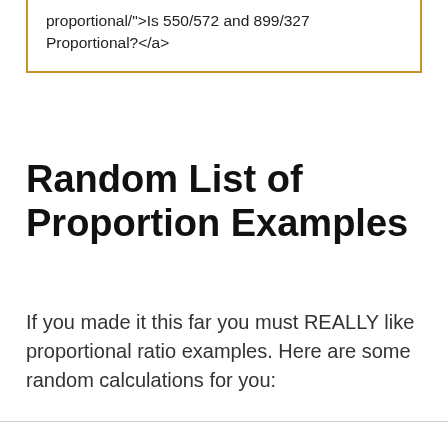proportional/">Is 550/572 and 899/327 Proportional?</a>
Random List of Proportion Examples
If you made it this far you must REALLY like proportional ratio examples. Here are some random calculations for you: